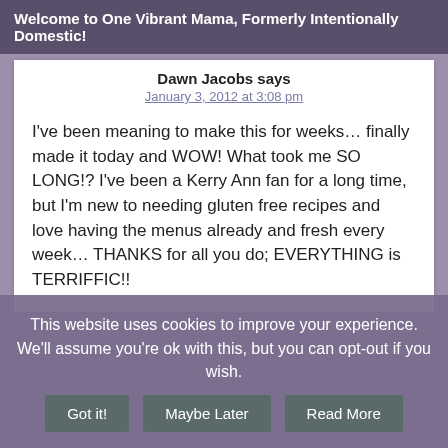Welcome to One Vibrant Mama, Formerly Intentionally Domestic!
Dawn Jacobs says
January 3, 2012 at 3:08 pm
I've been meaning to make this for weeks… finally made it today and WOW! What took me SO LONG!? I've been a Kerry Ann fan for a long time, but I'm new to needing gluten free recipes and love having the menus already and fresh every week… THANKS for all you do; EVERYTHING is TERRIFFIC!!
This website uses cookies to improve your experience. We'll assume you're ok with this, but you can opt-out if you wish.